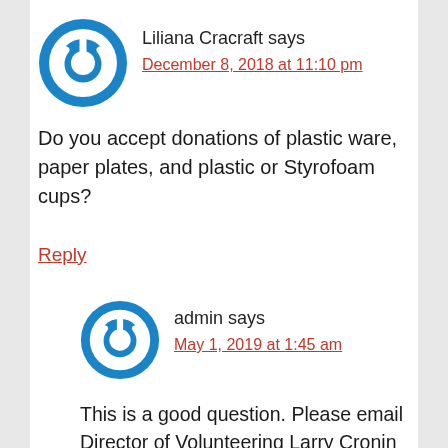Liliana Cracraft says
December 8, 2018 at 11:10 pm
Do you accept donations of plastic ware, paper plates, and plastic or Styrofoam cups?
Reply
admin says
May 1, 2019 at 1:45 am
This is a good question. Please email Director of Volunteering Larry Cronin at lcronin@mhihouston.org or call (713) 224-1373 between 8 AM and 11 AM,